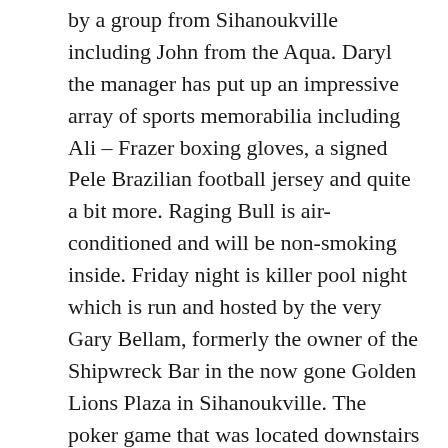by a group from Sihanoukville including John from the Aqua. Daryl the manager has put up an impressive array of sports memorabilia including Ali – Frazer boxing gloves, a signed Pele Brazilian football jersey and quite a bit more. Raging Bull is air-conditioned and will be non-smoking inside. Friday night is killer pool night which is run and hosted by the very Gary Bellam, formerly the owner of the Shipwreck Bar in the now gone Golden Lions Plaza in Sihanoukville. The poker game that was located downstairs at the Durian Sports Bar has moved in upstairs at Raging Bull with a group of new owners of the game.
Meanwhile the smaller stakes poker game that